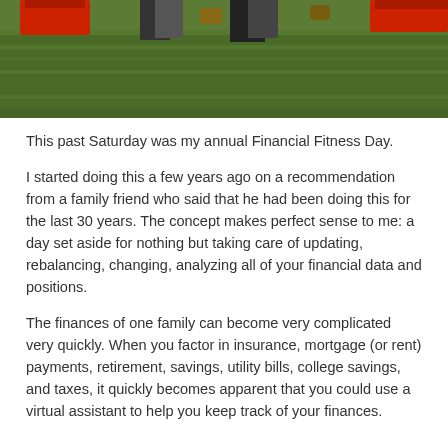[Figure (photo): Partial photo of people on a green grass field/turf, with red shoes visible at the top of the frame. Cropped so only legs/feet and the grass surface are visible.]
This past Saturday was my annual Financial Fitness Day.
I started doing this a few years ago on a recommendation from a family friend who said that he had been doing this for the last 30 years. The concept makes perfect sense to me: a day set aside for nothing but taking care of updating, rebalancing, changing, analyzing all of your financial data and positions.
The finances of one family can become very complicated very quickly. When you factor in insurance, mortgage (or rent) payments, retirement, savings, utility bills, college savings, and taxes, it quickly becomes apparent that you could use a virtual assistant to help you keep track of your finances.